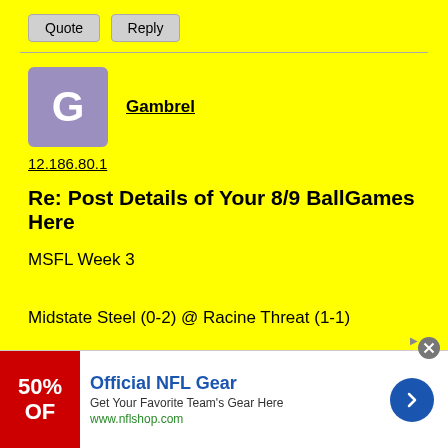Quote  Reply
Gambrel
12.186.80.1
Re: Post Details of Your 8/9 BallGames Here
MSFL Week 3

Midstate Steel (0-2) @ Racine Threat (1-1)

Leyden Lions (2-0) @ Bolingbrook Buccaneers (0-1)

Indiana Titans (1-1) @ Kanakee Plowmen (1-1)

Chicago Thunder (2-0) @ Northern Illinois Cowboys (1-0)
[Figure (other): Advertisement banner: Official NFL Gear - 50% OFF, Get Your Favorite Team's Gear Here, www.nflshop.com]